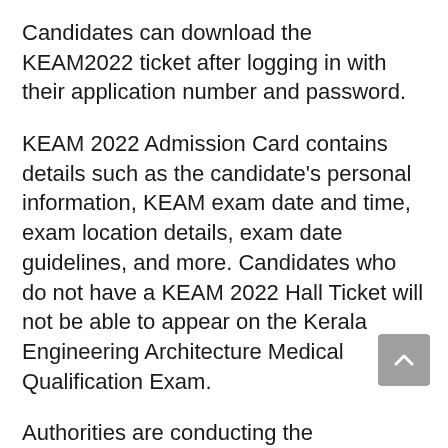Candidates can download the KEAM2022 ticket after logging in with their application number and password.
KEAM 2022 Admission Card contains details such as the candidate's personal information, KEAM exam date and time, exam location details, exam date guidelines, and more. Candidates who do not have a KEAM 2022 Hall Ticket will not be able to appear on the Kerala Engineering Architecture Medical Qualification Exam.
Authorities are conducting the KEAM2022 trial on July 4. Learn how to download the KEAM2022 admission ticket below.
How do I download the KEAM Admit